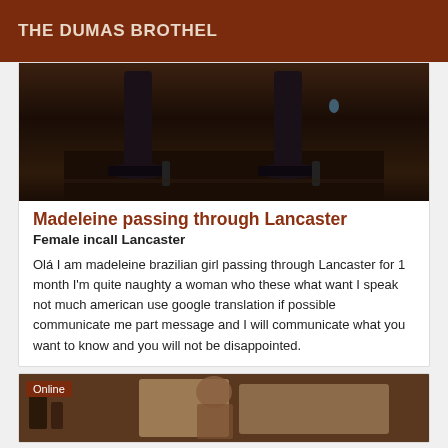THE DUMAS BROTHEL
[Figure (photo): Dark photo showing legs in high heels on a dark floor, cropped mid-body]
Madeleine passing through Lancaster
Female incall Lancaster
Olá I am madeleine brazilian girl passing through Lancaster for 1 month I'm quite naughty a woman who these what want I speak not much american use google translation if possible communicate me part message and I will communicate what you want to know and you will not be disappointed.
[Figure (photo): Photo of a person, partially visible, with Online badge in top left corner]